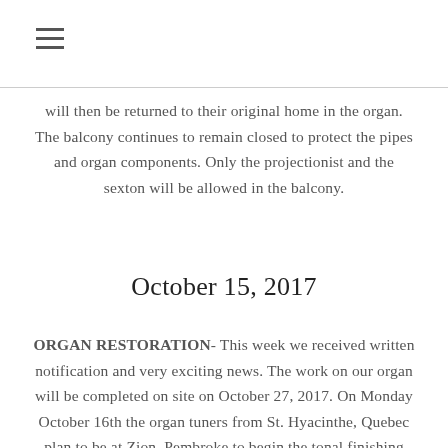☰
will then be returned to their original home in the organ. The balcony continues to remain closed to protect the pipes and organ components. Only the projectionist and the sexton will be allowed in the balcony.
October 15, 2017
ORGAN RESTORATION- This week we received written notification and very exciting news. The work on our organ will be completed on site on October 27, 2017. On Monday October 16th the organ tuners from St. Hyacinthe, Quebec plan to be at Zion, Pembroke to begin the tonal finishing and tuning of our organ.